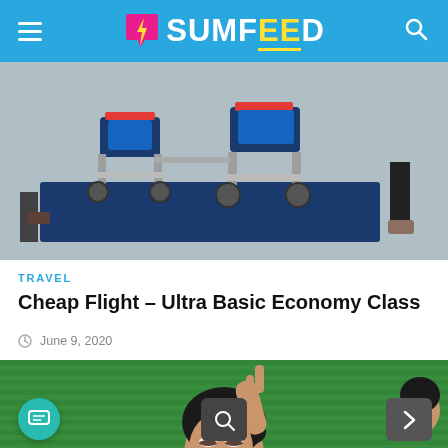SUMFEED
[Figure (photo): Airport wheelchair/mobility equipment displayed on a blue mat, with people standing around, blue seats visible]
TRAVEL
Cheap Flight – Ultra Basic Economy Class
June 9, 2020
[Figure (photo): Woman with dark hair making a pointing gesture, against a green corrugated background]